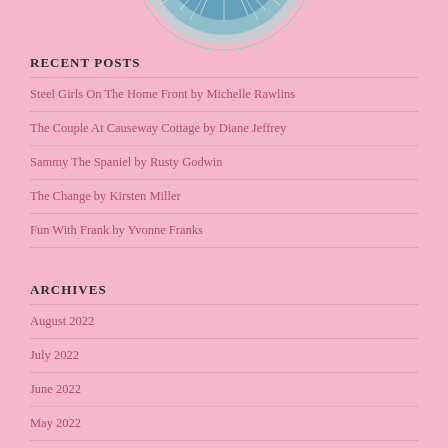[Figure (photo): Partial view of a circular image with teal/blue dandelion or flower against a light background, cropped at top]
RECENT POSTS
Steel Girls On The Home Front by Michelle Rawlins
The Couple At Causeway Cottage by Diane Jeffrey
Sammy The Spaniel by Rusty Godwin
The Change by Kirsten Miller
Fun With Frank by Yvonne Franks
ARCHIVES
August 2022
July 2022
June 2022
May 2022